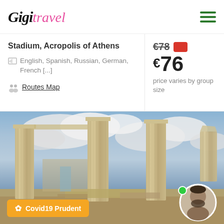Gigi travel
Stadium, Acropolis of Athens
English, Spanish, Russian, German, French [...]
Routes Map
€78 (strikethrough) €76 price varies by group size
[Figure (photo): Photo of the Acropolis of Athens showing ancient Greek columns against a cloudy sky, with ruins visible and a guide's profile photo in the bottom right corner]
Covid19 Prudent